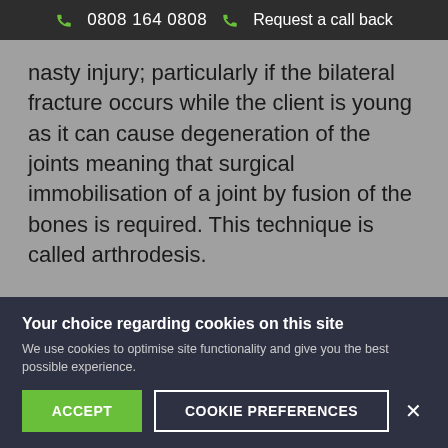0808 164 0808   Request a call back
nasty injury; particularly if the bilateral fracture occurs while the client is young as it can cause degeneration of the joints meaning that surgical immobilisation of a joint by fusion of the bones is required. This technique is called arthrodesis.
Injuries that have required a lengthy period in plaster or where pins and plates have been
Your choice regarding cookies on this site
We use cookies to optimise site functionality and give you the best possible experience.